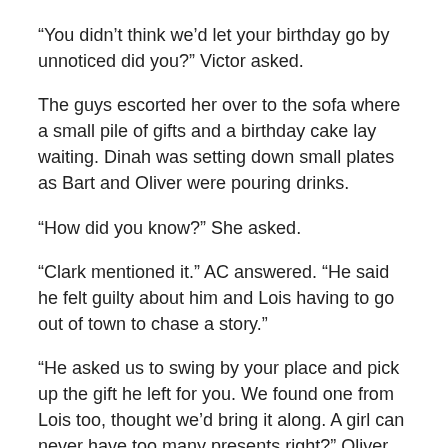“You didn’t think we’d let your birthday go by unnoticed did you?” Victor asked.
The guys escorted her over to the sofa where a small pile of gifts and a birthday cake lay waiting. Dinah was setting down small plates as Bart and Oliver were pouring drinks.
“How did you know?” She asked.
“Clark mentioned it.” AC answered. “He said he felt guilty about him and Lois having to go out of town to chase a story.”
“He asked us to swing by your place and pick up the gift he left for you. We found one from Lois too, thought we’d bring it along. A girl can never have too many presents right?” Oliver said passing her Clark’s gift first.